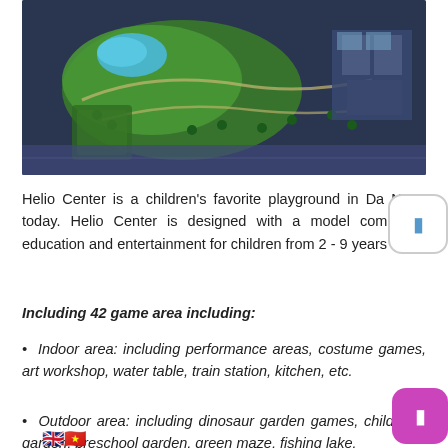[Figure (photo): Aerial view of Helio Center outdoor recreation area with green landscaping, pools, paths, palm trees, and buildings]
Helio Center is a children's favorite playground in Da Nang today. Helio Center is designed with a model combining education and entertainment for children from 2 - 9 years old.
Including 42 game area including:
Indoor area: including performance areas, costume games, art workshop, water table, train station, kitchen, etc.
Outdoor area: including dinosaur garden games, childhood garden, preschool garden, green maze, fishing lake.
Driving class: designed as a miniature city with enough